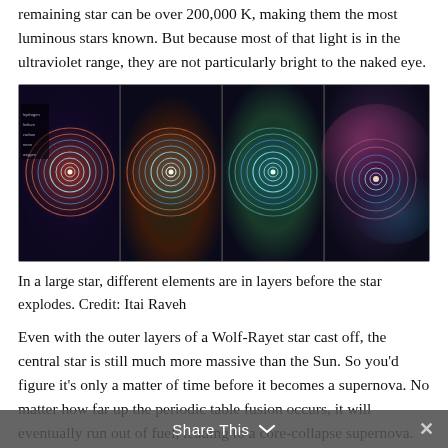remaining star can be over 200,000 K, making them the most luminous stars known. But because most of that light is in the ultraviolet range, they are not particularly bright to the naked eye.
[Figure (illustration): Four-panel illustration showing different elements in layers of a large star before it explodes, with concentric ring diagrams on dark backgrounds transitioning from dark to nebula-like imagery. Credit: Itai Raveh]
In a large star, different elements are in layers before the star explodes. Credit: Itai Raveh
Even with the outer layers of a Wolf-Rayet star cast off, the central star is still much more massive than the Sun. So you'd figure it's only a matter of time before it becomes a supernova. No matter how far up the periodic table fusion occurs, it will eventually run out of fuel, leading to a core-collapse supernova. But we can